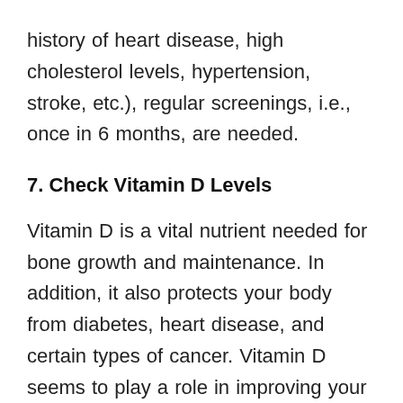history of heart disease, high cholesterol levels, hypertension, stroke, etc.), regular screenings, i.e., once in 6 months, are needed.
7. Check Vitamin D Levels
Vitamin D is a vital nutrient needed for bone growth and maintenance. In addition, it also protects your body from diabetes, heart disease, and certain types of cancer. Vitamin D seems to play a role in improving your immune system.
The most important source of vitamin D is exposure to the sun. Fatty fishes and fortified dairy products are also good sources. Nowadays, women hardly